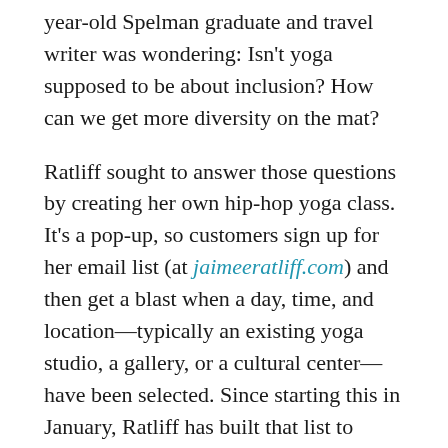year-old Spelman graduate and travel writer was wondering: Isn't yoga supposed to be about inclusion? How can we get more diversity on the mat?
Ratliff sought to answer those questions by creating her own hip-hop yoga class. It's a pop-up, so customers sign up for her email list (at jaimeeratliff.com) and then get a blast when a day, time, and location—typically an existing yoga studio, a gallery, or a cultural center—have been selected. Since starting this in January, Ratliff has built that list to about 550 people and hosted 60-minute vinyasa power flow classes (for $12 each) every other week. So far, they've all sold out.